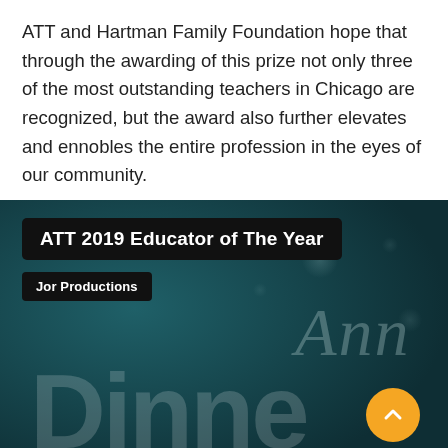ATT and Hartman Family Foundation hope that through the awarding of this prize not only three of the most outstanding teachers in Chicago are recognized, but the award also further elevates and ennobles the entire profession in the eyes of our community.
[Figure (screenshot): Video thumbnail or embedded video player with dark teal background showing text 'ATT 2019 Educator of The Year' in a black badge, 'Jor Productions' in a smaller black badge below, large partially visible text 'Dinne' and cursive 'Ann' in the background, and a yellow circular up-arrow button in the bottom right.]